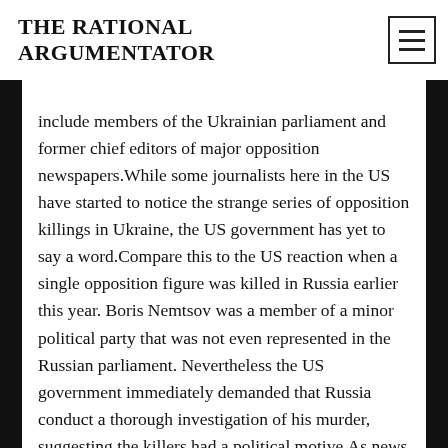THE RATIONAL ARGUMENTATOR
include members of the Ukrainian parliament and former chief editors of major opposition newspapers.While some journalists here in the US have started to notice the strange series of opposition killings in Ukraine, the US government has yet to say a word.Compare this to the US reaction when a single opposition figure was killed in Russia earlier this year. Boris Nemtsov was a member of a minor political party that was not even represented in the Russian parliament. Nevertheless the US government immediately demanded that Russia conduct a thorough investigation of his murder, suggesting the killers had a political motive.As news of the Russian killing broke, Chairman of the House Foreign Affairs Committee Ed Royce (R-CA) did not wait for evidence to blame the killing on Russian president Vladimir Putin. On the murder of